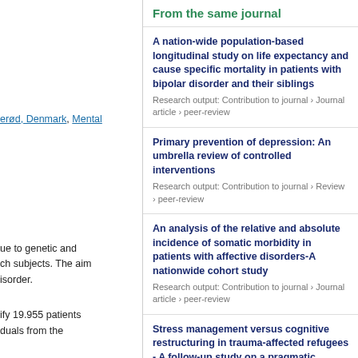erød, Denmark, Mental
ue to genetic and ch subjects. The aim isorder.
ify 19,955 patients duals from the
ries compared with reased rates of holesterolemia and der who were ous and parasitic
persons who do not
categories, except esis. In contrast,
From the same journal
A nation-wide population-based longitudinal study on life expectancy and cause specific mortality in patients with bipolar disorder and their siblings
Research output: Contribution to journal › Journal article › peer-review
Primary prevention of depression: An umbrella review of controlled interventions
Research output: Contribution to journal › Review › peer-review
An analysis of the relative and absolute incidence of somatic morbidity in patients with affective disorders-A nationwide cohort study
Research output: Contribution to journal › Journal article › peer-review
Stress management versus cognitive restructuring in trauma-affected refugees - A follow-up study on a pragmatic randomised trial
Research output: Contribution to journal › Journal article › peer-review
Affective and non-affective cognition in patients with bipolar disorder type I and type II in full or partial remission: Associations with familial risk
Research output: Contribution to journal › Journal article › peer-review